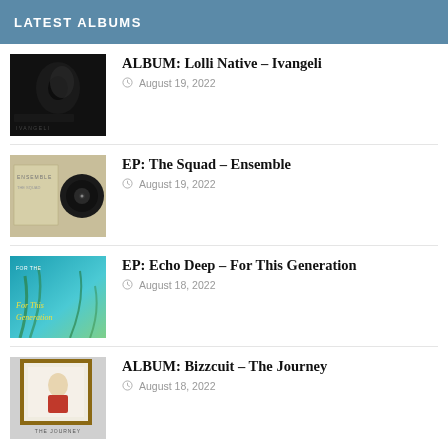LATEST ALBUMS
ALBUM: Lolli Native – Ivangeli
August 19, 2022
EP: The Squad – Ensemble
August 19, 2022
EP: Echo Deep – For This Generation
August 18, 2022
ALBUM: Bizzcuit – The Journey
August 18, 2022